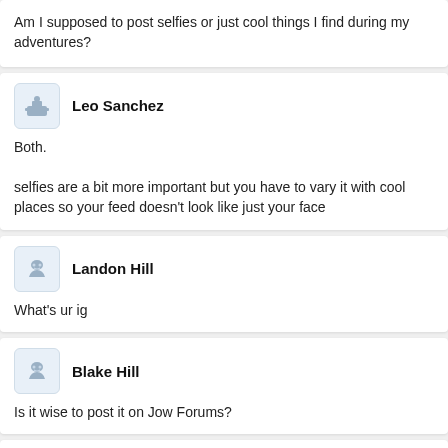Am I supposed to post selfies or just cool things I find during my adventures?
Leo Sanchez
Both.

selfies are a bit more important but you have to vary it with cool places so your feed doesn't look like just your face
Landon Hill
What's ur ig
Blake Hill
Is it wise to post it on Jow Forums?